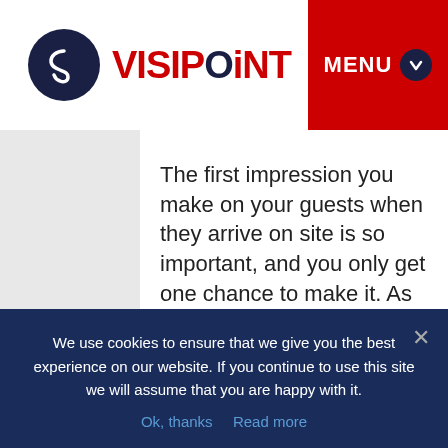[Figure (logo): VisiPoint logo: dark navy circle with stylized S icon, followed by VISIPOINT text in dark red/crimson with a navy dot above the 'i']
[Figure (other): Red MENU button with navy chevron circle in top-right corner]
The first impression you make on your guests when they arrive on site is so important, and you only get one chance to make it. As such, you need a system that presents exactly the right image: that you're an efficient, security-conscious business on the cutting edge of technology.
What if the...
We use cookies to ensure that we give you the best experience on our website. If you continue to use this site we will assume that you are happy with it.
Ok, thanks   Read more